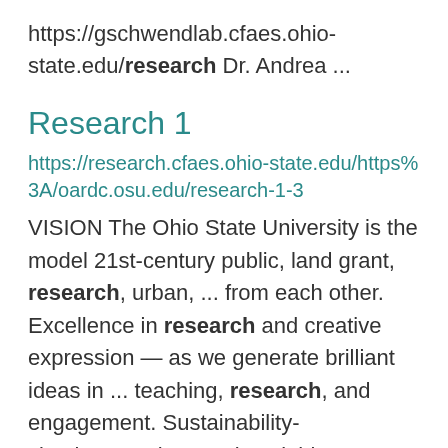https://gschwendlab.cfaes.ohio-state.edu/research Dr. Andrea ...
Research 1
https://research.cfaes.ohio-state.edu/https%3A/oardc.osu.edu/research-1-3
VISION The Ohio State University is the model 21st-century public, land grant, research, urban, ... from each other. Excellence in research and creative expression — as we generate brilliant ideas in ... teaching, research, and engagement. Sustainability-simultaneously ensuring viable agriculture production, ...